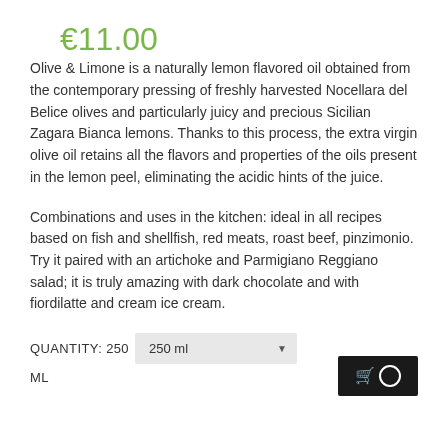€11.00
Olive & Limone is a naturally lemon flavored oil obtained from the contemporary pressing of freshly harvested Nocellara del Belice olives and particularly juicy and precious Sicilian Zagara Bianca lemons. Thanks to this process, the extra virgin olive oil retains all the flavors and properties of the oils present in the lemon peel, eliminating the acidic hints of the juice.
Combinations and uses in the kitchen: ideal in all recipes based on fish and shellfish, red meats, roast beef, pinzimonio. Try it paired with an artichoke and Parmigiano Reggiano salad; it is truly amazing with dark chocolate and with fiordilatte and cream ice cream.
QUANTITY: 250
250 ml
ML